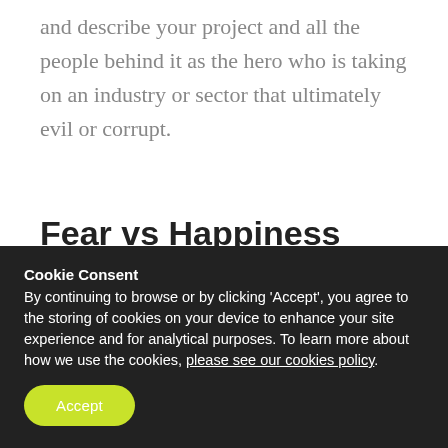and describe your project and all the people behind it as the hero who is taking on an industry or sector that ultimately evil or corrupt.
Fear vs Happiness
Two of the most powerful emotions to leverage during speeches, talks, crowdfunding videos and pitches are feelings of happiness and fear.
Cookie Consent
By continuing to browse or by clicking ‘Accept’, you agree to the storing of cookies on your device to enhance your site experience and for analytical purposes. To learn more about how we use the cookies, please see our cookies policy.
Accept